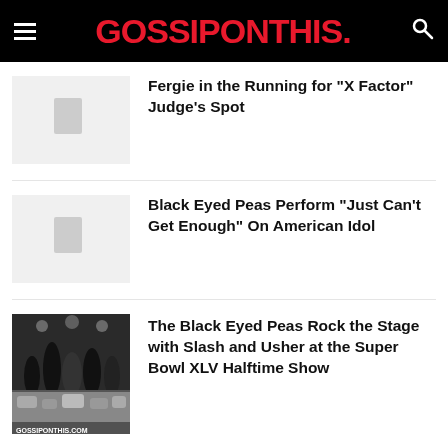GOSSIPONTHIS.
Fergie in the Running for “X Factor” Judge’s Spot
Black Eyed Peas Perform “Just Can’t Get Enough” On American Idol
The Black Eyed Peas Rock the Stage with Slash and Usher at the Super Bowl XLV Halftime Show
Fergie Looks Like Madonna Arriving at LAX
Black Eyed Peas and Nicole Scherzinger…